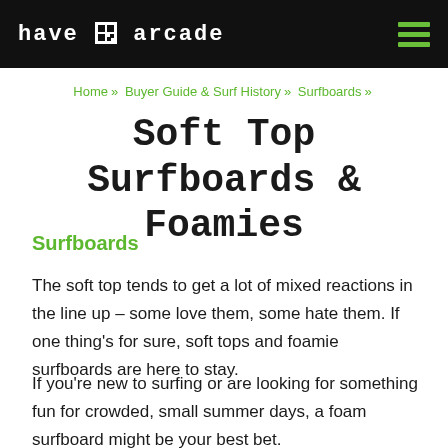Have Half Arcade [hamburger menu icon]
Home » Buyer Guide & Surf History » Surfboards »
Soft Top Surfboards & Foamies
Surfboards
The soft top tends to get a lot of mixed reactions in the line up – some love them, some hate them. If one thing's for sure, soft tops and foamie surfboards are here to stay.
If you're new to surfing or are looking for something fun for crowded, small summer days, a foam surfboard might be your best bet.